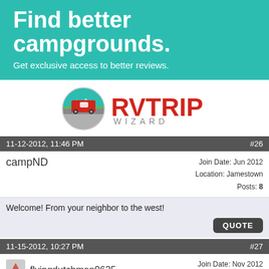[Figure (infographic): Teal banner advertisement with bold white text 'Find better campgrounds.' and subtitle 'Get exclusive access to better reviews.']
[Figure (logo): RV Trip Wizard logo with circular RV icon and red/gray RVTRIP WIZARD wordmark]
11-12-2012, 11:46 PM  #26
campND
Join Date: Jun 2012
Location: Jamestown
Posts: 8
Welcome! From your neighbor to the west!
11-15-2012, 10:27 PM  #27
flyingdutchmen0625
Join Date: Nov 2012
Location: new lenox